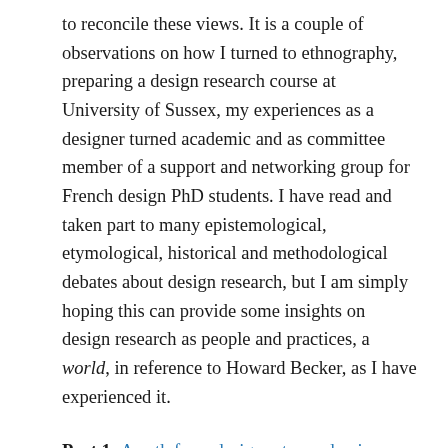to reconcile these views. It is a couple of observations on how I turned to ethnography, preparing a design research course at University of Sussex, my experiences as a designer turned academic and as committee member of a support and networking group for French design PhD students. I have read and taken part to many epistemological, etymological, historical and methodological debates about design research, but I am simply hoping this can provide some insights on design research as people and practices, a world, in reference to Howard Becker, as I have experienced it.
Part 1: A path from designer to academic;